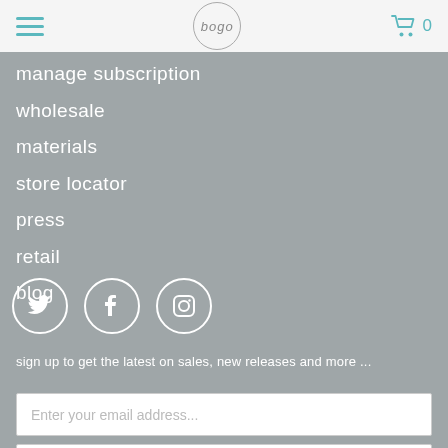bogo - navigation header with hamburger menu, logo, cart (0)
manage subscription
wholesale
materials
store locator
press
retail
blog
[Figure (illustration): Social media icons in white circles: Twitter, Facebook, Instagram]
sign up to get the latest on sales, new releases and more ...
Enter your email address...
sign up